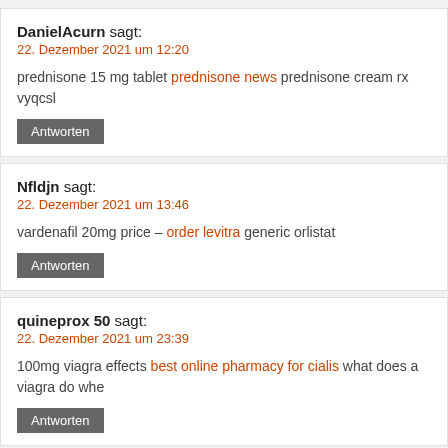DanielAcurn sagt:
22. Dezember 2021 um 12:20
prednisone 15 mg tablet prednisone news prednisone cream rx vyqcsl
Antworten
Nfldjn sagt:
22. Dezember 2021 um 13:46
vardenafil 20mg price – order levitra generic orlistat
Antworten
quineprox 50 sagt:
22. Dezember 2021 um 23:39
100mg viagra effects best online pharmacy for cialis what does a viagra do whe
Antworten
PegoAbsews sagt:
23. Dezember 2021 um 05:33